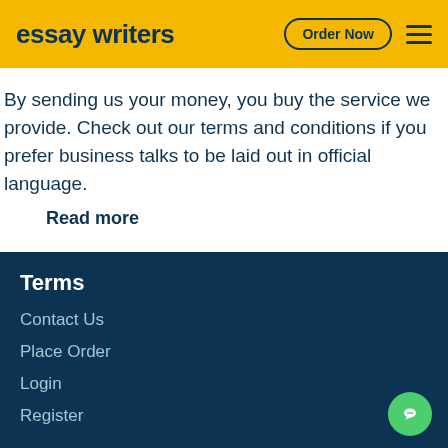essay writers  Order Now
By sending us your money, you buy the service we provide. Check out our terms and conditions if you prefer business talks to be laid out in official language.
Read more
Terms
Contact Us
Place Order
Login
Register